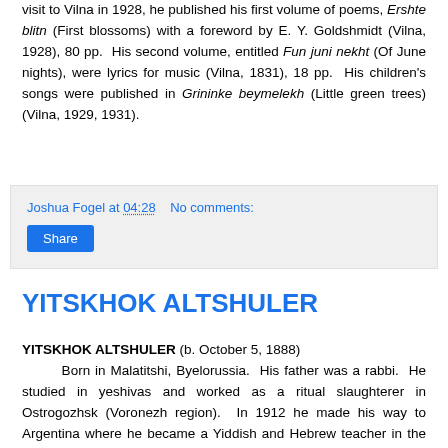visit to Vilna in 1928, he published his first volume of poems, Ershte blitn (First blossoms) with a foreword by E. Y. Goldshmidt (Vilna, 1928), 80 pp.  His second volume, entitled Fun juni nekht (Of June nights), were lyrics for music (Vilna, 1831), 18 pp.  His children's songs were published in Grininke beymelekh (Little green trees) (Vilna, 1929, 1931).
Joshua Fogel at 04:28    No comments:
Share
YITSKHOK ALTSHULER
YITSKHOK ALTSHULER (b. October 5, 1888)
        Born in Malatitshi, Byelorussia.  His father was a rabbi.  He studied in yeshivas and worked as a ritual slaughterer in Ostrogozhsk (Voronezh region).  In 1912 he made his way to Argentina where he became a Yiddish and Hebrew teacher in the YIKO (Jewish Cultural Organization)